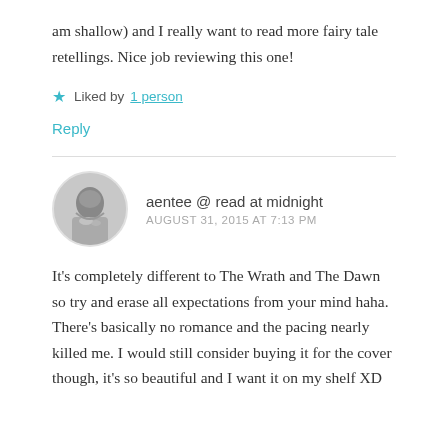am shallow) and I really want to read more fairy tale retellings. Nice job reviewing this one!
★ Liked by 1 person
Reply
aentee @ read at midnight
AUGUST 31, 2015 AT 7:13 PM
It's completely different to The Wrath and The Dawn so try and erase all expectations from your mind haha. There's basically no romance and the pacing nearly killed me. I would still consider buying it for the cover though, it's so beautiful and I want it on my shelf XD